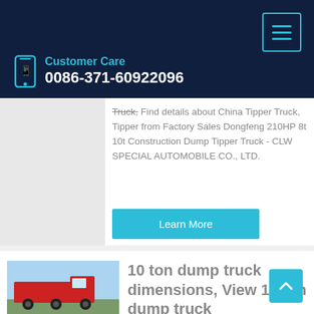Customer Care 0086-371-60922096
Truck, Find details about China Tipper Truck, Tipper from Factory Sales Dongfeng 210HP 8t 10t Construction Dump Tipper Truck - CLW SPECIAL AUTOMOBILE CO., LTD.
Learn More
10 ton dump truck dimensions, View 10 ton dump truck
10 ton dump truck dimensions, US $